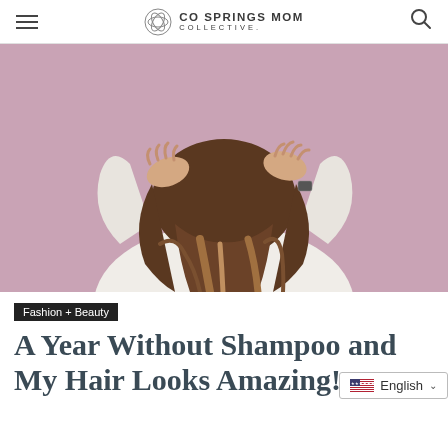CO SPRINGS MOM COLLECTIVE.
[Figure (photo): Woman seen from behind with long wavy brown hair with highlights, wearing a white sweatshirt, hands on top of head, against a pink/mauve background.]
Fashion + Beauty
A Year Without Shampoo and My Hair Looks Amazing!